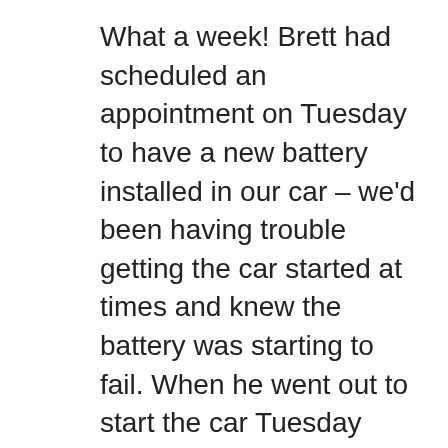What a week! Brett had scheduled an appointment on Tuesday to have a new battery installed in our car – we'd been having trouble getting the car started at times and knew the battery was starting to fail. When he went out to start the car Tuesday morning though the battery was DEAD. And, there was no one around in the neighborhood to help jump the car (which as it turned out would have been futile) and he ended up having to arrange for a tow to the garage. Ouch. The